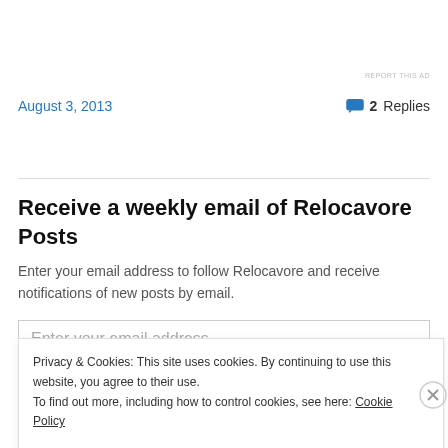REPORT THIS AD
August 3, 2013
2 Replies
Receive a weekly email of Relocavore Posts
Enter your email address to follow Relocavore and receive notifications of new posts by email.
Enter your email address
Privacy & Cookies: This site uses cookies. By continuing to use this website, you agree to their use.
To find out more, including how to control cookies, see here: Cookie Policy
Close and accept
REPORT THIS AD